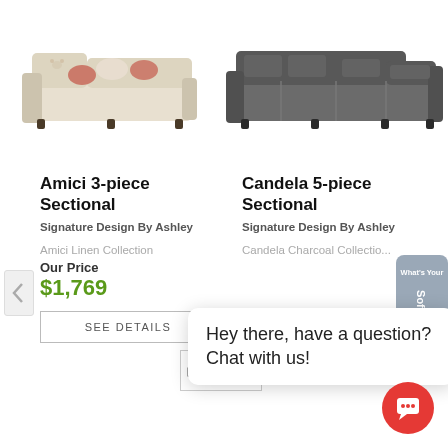[Figure (photo): Amici 3-piece sectional sofa in light beige/linen with decorative pillows, L-shaped]
[Figure (photo): Candela 5-piece sectional sofa in charcoal/dark gray, L-shaped modular]
Amici 3-piece Sectional
Candela 5-piece Sectional
Signature Design By Ashley
Signature Design By Ashley
Amici Linen Collection
Candela Charcoal Collection
Our Price
$1,769
SEE DETAILS
SEE DETAILS
[Figure (logo): Furnish and Mattress logos side by side]
Hey there, have a question? Chat with us!
[Figure (illustration): What's Your Sofa Style? badge/widget on right edge]
[Figure (illustration): Red chat button icon bottom right]